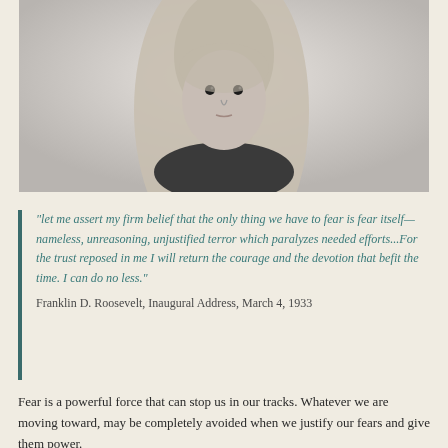[Figure (photo): Black and white portrait photo of a young girl with long straight blonde hair, looking directly at the camera with a serious expression, against a light blurred background.]
"let me assert my firm belief that the only thing we have to fear is fear itself—nameless, unreasoning, unjustified terror which paralyzes needed efforts...For the trust reposed in me I will return the courage and the devotion that befit the time. I can do no less." Franklin D. Roosevelt, Inaugural Address, March 4, 1933
Fear is a powerful force that can stop us in our tracks.  Whatever we are moving toward,  may be completely avoided when we justify our fears and give them power.